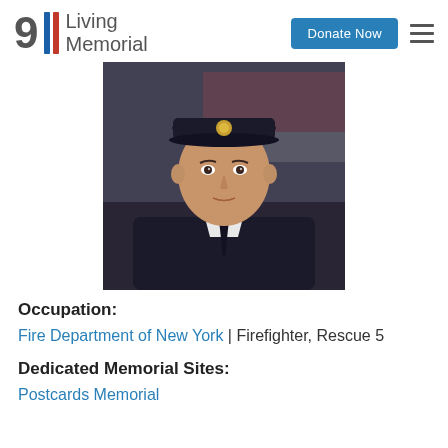911 Living Memorial | Donate Now
[Figure (photo): Portrait photograph of a young man in a dark firefighter/naval uniform with a black peaked cap bearing a gold emblem, white dress shirt and dark tie, with an American flag in the background]
Occupation:
Fire Department of New York | Firefighter, Rescue 5
Dedicated Memorial Sites:
Postcards Memorial